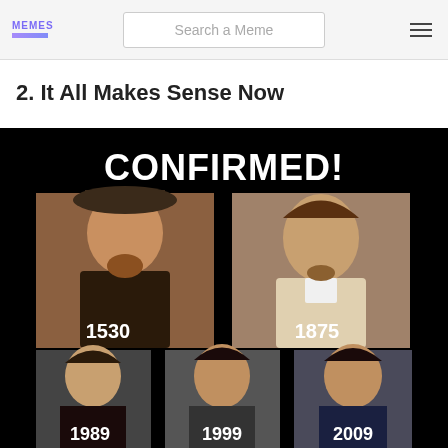MEMES | Search a Meme
2. It All Makes Sense Now
[Figure (photo): Meme showing four portraits/photos labeled 'CONFIRMED!' with years 1530, 1875, 1989, 1999, 2009 — implying the same person (resembling Keanu Reeves) appeared across centuries in historical paintings and modern photos.]